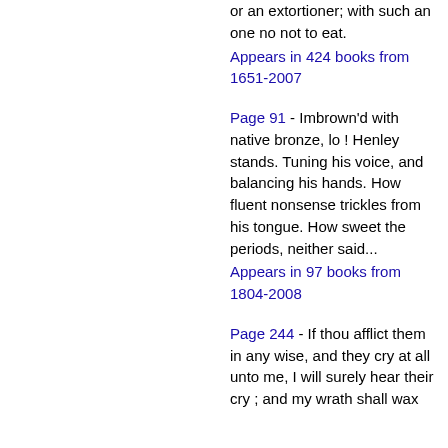or an extortioner; with such an one no not to eat.
Appears in 424 books from 1651-2007
Page 91 - Imbrown'd with native bronze, lo ! Henley stands. Tuning his voice, and balancing his hands. How fluent nonsense trickles from his tongue. How sweet the periods, neither said...
Appears in 97 books from 1804-2008
Page 244 - If thou afflict them in any wise, and they cry at all unto me, I will surely hear their cry ; and my wrath shall wax